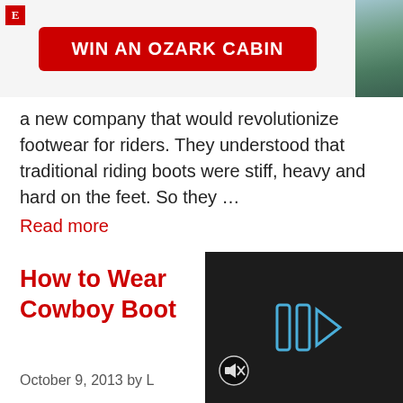[Figure (other): Advertisement banner: WIN AN OZARK CABIN with red button and cabin photo]
a new company that would revolutionize footwear for riders. They understood that traditional riding boots were stiff, heavy and hard on the feet. So they …
Read more
Fashion
ariat, boot fit, boots
Leave a comment
How to Wear Cowboy Boot
October 9, 2013 by L
[Figure (other): Video overlay with play button icon and mute icon on dark background]